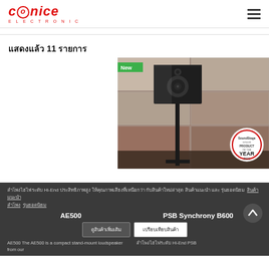CONICE ELECTRONIC
แสดงแล้ว 11 รายการ
[Figure (photo): Product photo of a bookshelf speaker (PSB Synchrony B600) mounted on a stand in a room with tile wall backdrop. Green 'New' badge in top-left corner. SoundStage Network Product of the Year 2021 award badge in bottom-right corner.]
ลำโพงไฮไฟระดับ Hi-End ประสิทธิภาพสูง ให้คุณภาพเสียงที่เหนือกว่า กับสินค้าใหม่ล่าสุด สินค้าแนะนำ และ รุ่นยอดนิยม
AE500
PSB Synchrony B600
AE500 The AE500 is a compact stand-mount loudspeaker from our
PSB
ดูสินค้าเพิ่มเติม
เปรียบเทียบสินค้า